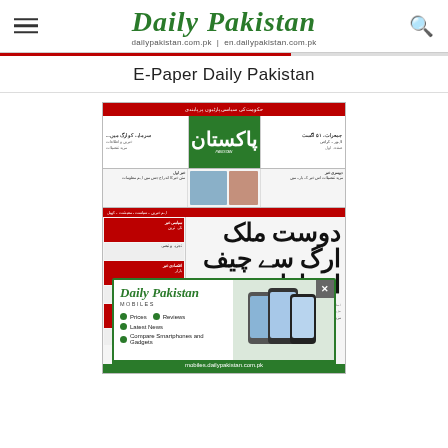Daily Pakistan — dailypakistan.com.pk | en.dailypakistan.com.pk
E-Paper Daily Pakistan
[Figure (screenshot): Screenshot of the Daily Pakistan Urdu newspaper e-paper front page showing the newspaper masthead in green, red banner headlines in Urdu script, photos, and a large Urdu headline in the lower half. An advertisement popup for Daily Pakistan Mobiles is overlaid at the bottom showing phone images and bullet points: Prices, Reviews, Latest News, Compare Smartphones and Gadgets. URL: mobiles.dailypakistan.com.pk]